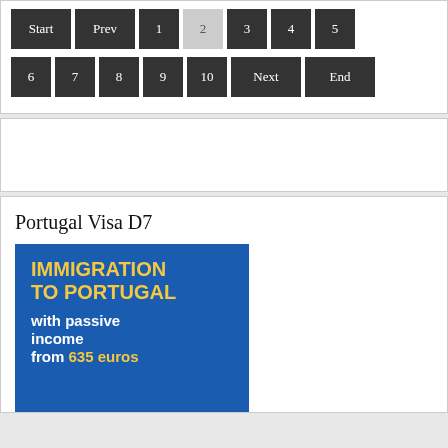[Figure (other): Pagination navigation bar with buttons: Start, Prev, 1, 2 (active/highlighted), 3, 4, 5, 6, 7, 8, 9, 10, Next, End — dark background buttons with white text, page 2 shown in light gray]
[Figure (other): Advertisement placeholder area (white box)]
Portugal Visa D7
[Figure (infographic): Blue promotional banner with yellow and white bold text reading: IMMIGRATION TO PORTUGAL with passive income from 635 euros]